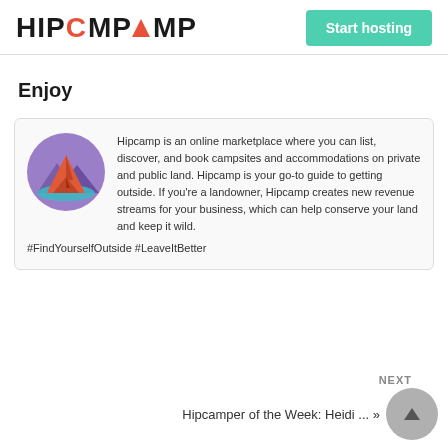HIPCAMP | Start hosting
Enjoy
[Figure (logo): Hipcamp circular logo with purple background, mountain silhouettes, red/orange tent and teal water]
Hipcamp is an online marketplace where you can list, discover, and book campsites and accommodations on private and public land. Hipcamp is your go-to guide to getting outside. If you're a landowner, Hipcamp creates new revenue streams for your business, which can help conserve your land and keep it wild. #FindYourselfOutside #LeaveItBetter
NEXT Hipcamper of the Week: Heidi ...»